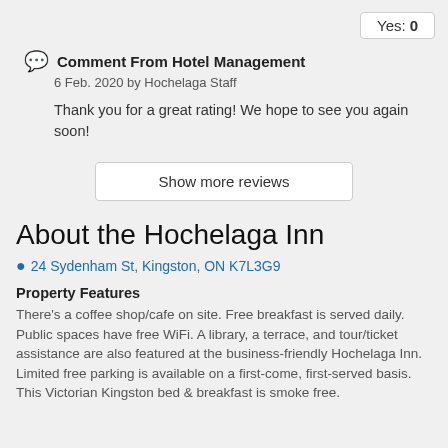Yes: 0
Comment From Hotel Management
6 Feb. 2020 by Hochelaga Staff
Thank you for a great rating! We hope to see you again soon!
Show more reviews
About the Hochelaga Inn
24 Sydenham St, Kingston, ON K7L3G9
Property Features
There's a coffee shop/cafe on site. Free breakfast is served daily. Public spaces have free WiFi. A library, a terrace, and tour/ticket assistance are also featured at the business-friendly Hochelaga Inn. Limited free parking is available on a first-come, first-served basis. This Victorian Kingston bed & breakfast is smoke free.